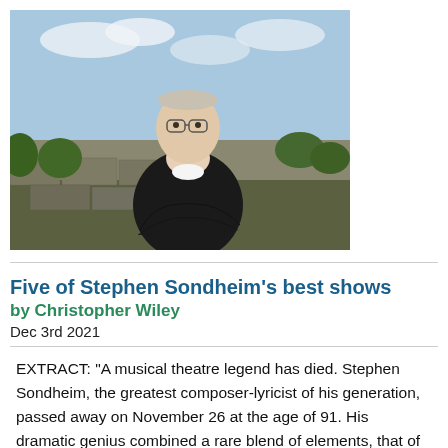[Figure (photo): Outdoor portrait photo of an older man with glasses wearing a dark sweater, standing against a backdrop of stone ruins and greenery with a blue sky.]
Five of Stephen Sondheim's best shows
by Christopher Wiley
Dec 3rd 2021
EXTRACT: "A musical theatre legend has died. Stephen Sondheim, the greatest composer-lyricist of his generation, passed away on November 26 at the age of 91. His dramatic genius combined a rare blend of elements, that of an astonishingly versatile and sophisticated composer, and an incredibly witty wordsmith. His extraordinary output includes a staggering 16 musicals as composer and lyricist, a further three as lyricist alone, as well as four